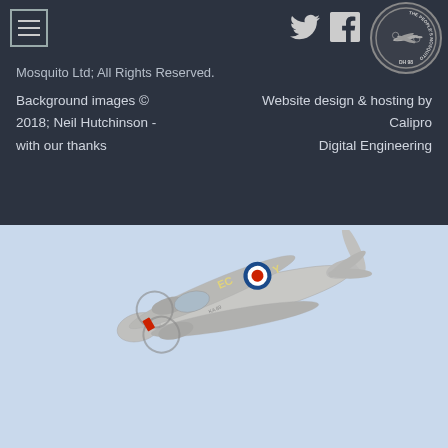Navigation bar with menu icon, Twitter and Facebook social icons, and The People's Mosquito DH 98 logo
Mosquito Ltd; All Rights Reserved. Background images © 2018; Neil Hutchinson - with our thanks | Website design & hosting by Calipro Digital Engineering
[Figure (photo): De Havilland Mosquito aircraft in silver/grey livery with RAF roundel markings 'EC-Y', photographed in flight against light blue sky background]